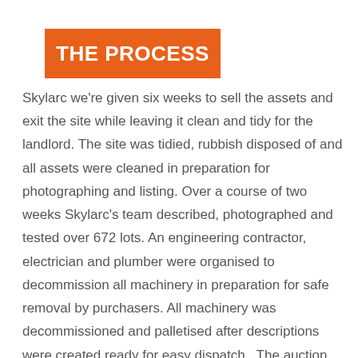THE PROCESS
Skylarc we're given six weeks to sell the assets and exit the site while leaving it clean and tidy for the landlord. The site was tidied, rubbish disposed of and all assets were cleaned in preparation for photographing and listing. Over a course of two weeks Skylarc's team described, photographed and tested over 672 lots. An engineering contractor, electrician and plumber were organised to decommission all machinery in preparation for safe removal by purchasers. All machinery was decommissioned and palletised after descriptions were created ready for easy dispatch.  The auction ran over 8 days with two nights of sales with 50% of the total lots